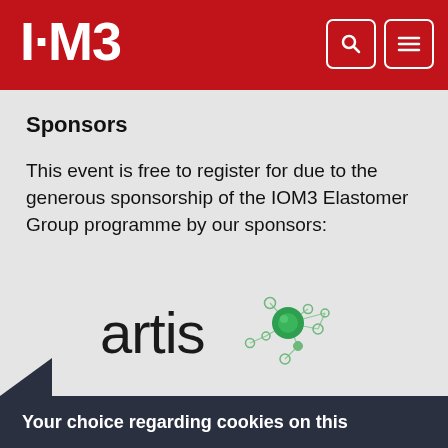I·M3
Sponsors
This event is free to register for due to the generous sponsorship of the IOM3 Elastomer Group programme by our sponsors:
[Figure (logo): Artis company logo with stylized molecular network graphic in green]
Your choice regarding cookies on this